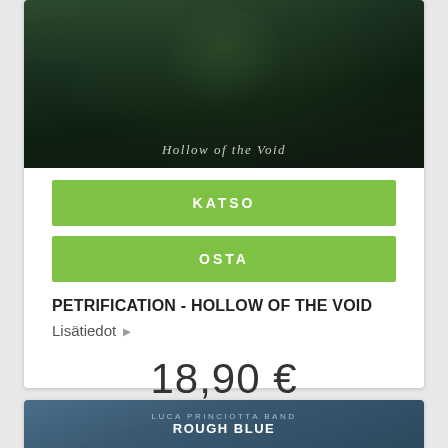[Figure (photo): Album cover for Petrification - Hollow of the Void, dark fantasy artwork with text 'Hollow of the Void']
KATSO
OSTA
PETRIFICATION - HOLLOW OF THE VOID
Lisätiedot
18,90 €
[Figure (photo): Album cover for Luca Princiotta Band - Rough Blue, showing band members with snowy/blue background]